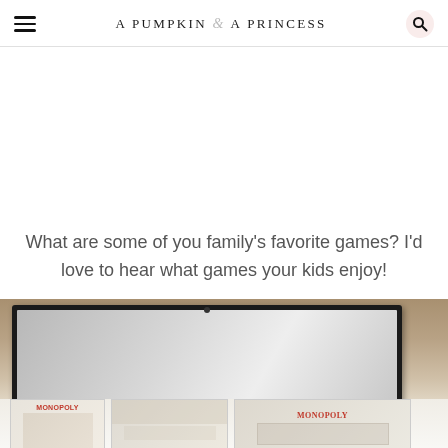A PUMPKIN & A PRINCESS
What are some of you family’s favorite games? I’d love to hear what games your kids enjoy!
[Figure (photo): Photo of a TV/monitor and board game boxes including Monopoly on a table surface]